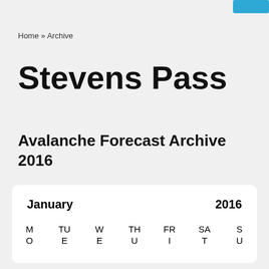Home » Archive
Stevens Pass
Avalanche Forecast Archive 2016
| MO | TUE | WE | THU | FRI | SAT | SU |
| --- | --- | --- | --- | --- | --- | --- |